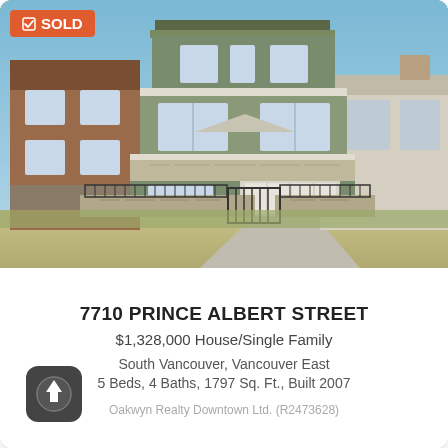[Figure (photo): Exterior photo of a multi-story house at 7710 Prince Albert Street with a SOLD badge in the top-left corner. The house is olive/grey-green stucco with white trim, has a gated stone fence, black iron railing, and is flanked by neighboring homes. Blue sky in background.]
7710 PRINCE ALBERT STREET
$1,328,000 House/Single Family
South Vancouver, Vancouver East
5 Beds, 4 Baths, 1797 Sq. Ft., Built 2007
[Figure (logo): Realty app icon - rounded square with upward arrow]
Oakwyn Realty Downtown Ltd. (R2473628)